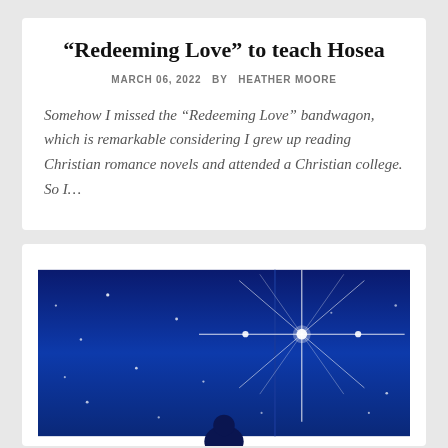“Redeeming Love” to teach Hosea
MARCH 06, 2022  BY  HEATHER MOORE
Somehow I missed the “Redeeming Love” bandwagon, which is remarkable considering I grew up reading Christian romance novels and attended a Christian college. So I…
[Figure (illustration): Night sky illustration with a bright star with long rays in the upper right, smaller dots of stars scattered across a deep blue background, and the top of a dark silhouetted figure at the bottom center.]